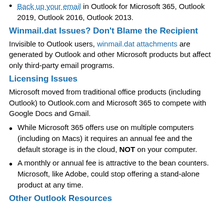Back up your email in Outlook for Microsoft 365, Outlook 2019, Outlook 2016, Outlook 2013.
Winmail.dat Issues? Don't Blame the Recipient
Invisible to Outlook users, winmail.dat attachments are generated by Outlook and other Microsoft products but affect only third-party email programs.
Licensing Issues
Microsoft moved from traditional office products (including Outlook) to Outlook.com and Microsoft 365 to compete with Google Docs and Gmail.
While Microsoft 365 offers use on multiple computers (including on Macs) it requires an annual fee and the default storage is in the cloud, NOT on your computer.
A monthly or annual fee is attractive to the bean counters. Microsoft, like Adobe, could stop offering a stand-alone product at any time.
Other Outlook Resources